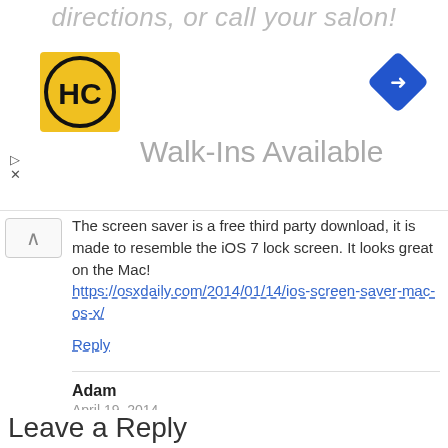[Figure (other): Advertisement banner: HC logo on yellow square, Walk-Ins Available text, blue navigation diamond icon, top faded text 'directions, or call your salon!']
The screen saver is a free third party download, it is made to resemble the iOS 7 lock screen. It looks great on the Mac!
https://osxdaily.com/2014/01/14/ios-screen-saver-mac-os-x/
Reply
Adam
April 19, 2014
Geezlike, Pretty envious. Here I am saving for years to buy just one top end 15″MBP
Reply
Leave a Reply